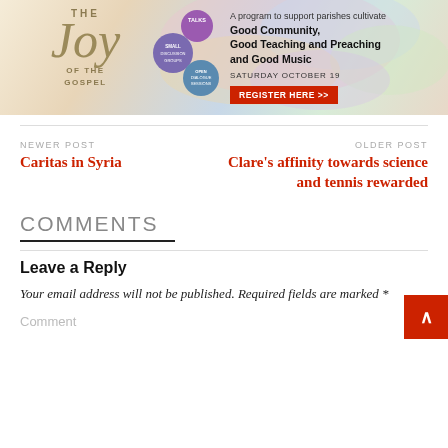[Figure (illustration): The Joy of the Gospel event advertisement banner with colorful swirling background, circular icons for Talks, Small Discussion Groups, and Open Dialogue Sessions, event text about supporting parishes with Good Community, Good Teaching and Preaching and Good Music, Saturday October 19 date, and a red Register Here button.]
NEWER POST
Caritas in Syria
OLDER POST
Clare's affinity towards science and tennis rewarded
COMMENTS
Leave a Reply
Your email address will not be published. Required fields are marked *
Comment